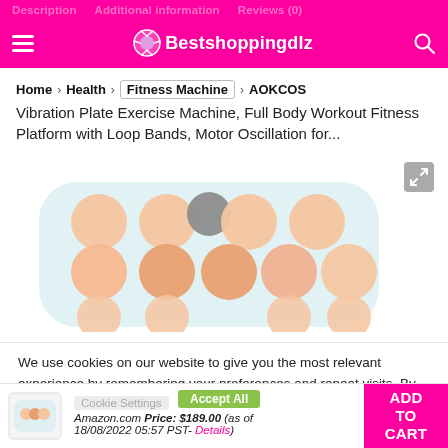Description  Additional information  Reviews (0) | Bestshoppingdlz
Home > Health > Fitness Machine > AOKCOS
Vibration Plate Exercise Machine, Full Body Workout Fitness Platform with Loop Bands, Motor Oscillation for...
[Figure (photo): Vibration plate exercise machine with multiple peach/salmon colored circular pads arranged in a grid on a light blue/white base, with a grey control button in the center top.]
We use cookies on our website to give you the most relevant experience by remembering your preferences and repeat visits. By clicking "Accept All", you consent to the use of ALL the cookies. However, you may visit "Cookie Settings" to provide a controlled consent.
Cookie Settings  Accept All  Amazon.com Price: $189.00 (as of 18/08/2022 05:57 PST- Details)
ADD TO CART